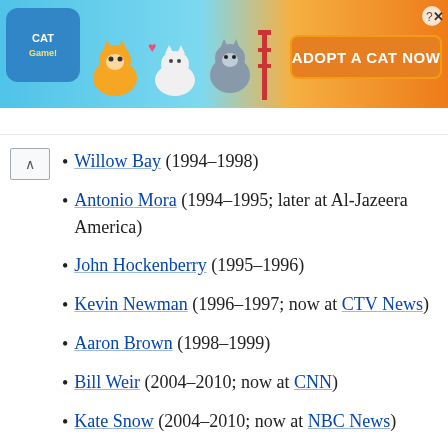[Figure (other): Advertisement banner for a mobile cat game with text 'ADOPT A CAT NOW', cartoon cats, and a close button.]
Willow Bay (1994–1998)
Antonio Mora (1994–1995; later at Al-Jazeera America)
John Hockenberry (1995–1996)
Kevin Newman (1996–1997; now at CTV News)
Aaron Brown (1998–1999)
Bill Weir (2004–2010; now at CNN)
Kate Snow (2004–2010; now at NBC News)
Bianna Golodryga (2010–2014; later at CBS New…)